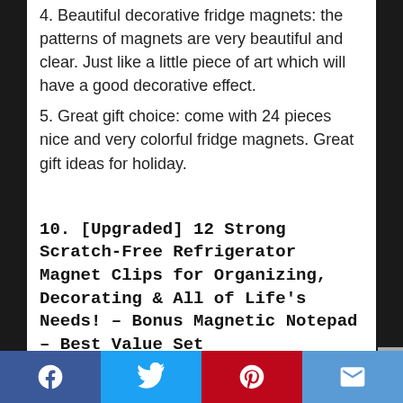4. Beautiful decorative fridge magnets: the patterns of magnets are very beautiful and clear. Just like a little piece of art which will have a good decorative effect.
5. Great gift choice: come with 24 pieces nice and very colorful fridge magnets. Great gift ideas for holiday.
10. [Upgraded] 12 Strong Scratch-Free Refrigerator Magnet Clips for Organizing, Decorating & All of Life's Needs! – Bonus Magnetic Notepad – Best Value Set
Social share bar: Facebook, Twitter, Pinterest, Email